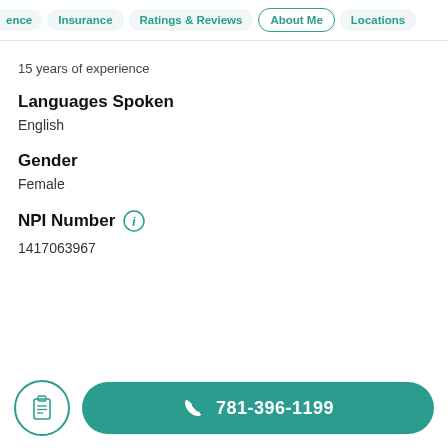ence | Insurance | Ratings & Reviews | About Me | Locations
15 years of experience
Languages Spoken
English
Gender
Female
NPI Number
1417063967
781-396-1199